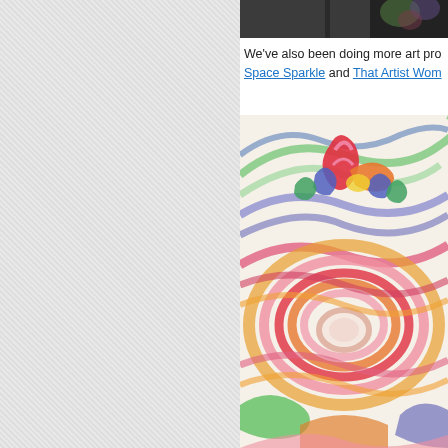[Figure (photo): Top partial image of a photo (dark background with colorful elements), cropped at top of page]
We've also been doing more art pro... Space Sparkle and That Artist Wom...
[Figure (photo): Colorful crayon artwork showing swirling concentric circles and abstract figure with rainbow colors including pink, red, orange, yellow, green, blue, and purple on white paper]